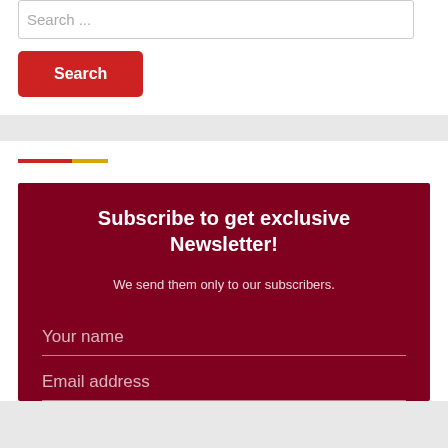Search ...
Search
Subscribe to get exclusive Newsletter!
We send them only to our subscribers.
Your name
Email address